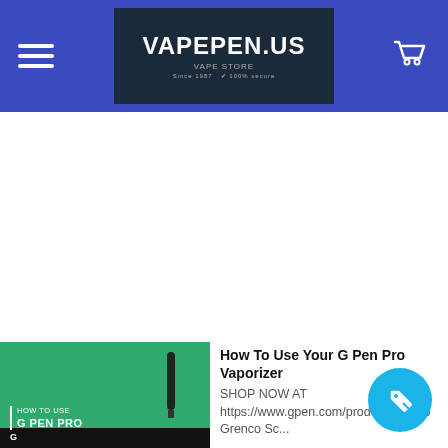VAPEPEN.US
[Figure (screenshot): Thumbnail image for 'How To Use G Pen Pro' video with green background and a vape pen device]
How To Use Your G Pen Pro Vaporizer
SHOP NOW AT https://www.gpen.com/produ pen-pro Grenco Sc...